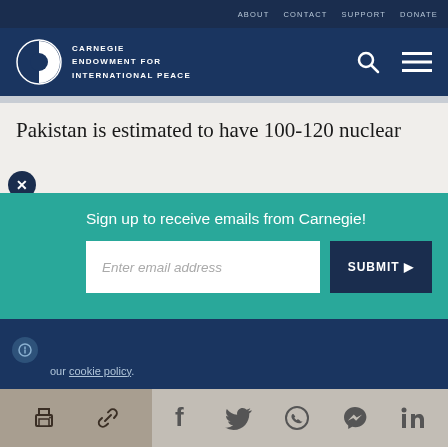ABOUT  CONTACT  SUPPORT  DONATE
[Figure (logo): Carnegie Endowment for International Peace logo — white circle/pie icon with CARNEGIE ENDOWMENT FOR INTERNATIONAL PEACE text]
Pakistan is estimated to have 100-120 nuclear
Sign up to receive emails from Carnegie!
Enter email address
SUBMIT ▶
our cookie policy.
[Figure (infographic): Social sharing bar with print, link, Facebook, Twitter, WhatsApp, Messenger, LinkedIn icons]